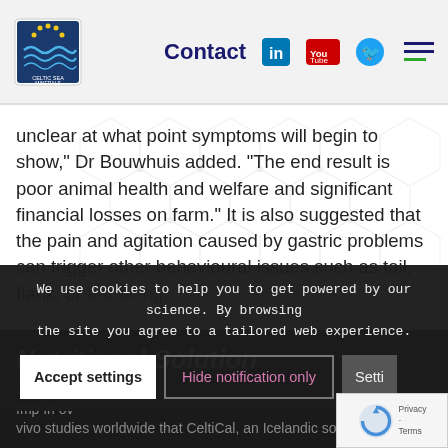Celtic Sea Minerals — Contact
unclear at what point symptoms will begin to show," Dr Bouwhuis added. "The end result is poor animal health and welfare and significant financial losses on farm." It is also suggested that the pain and agitation caused by gastric problems can trigger other behavioural issues such as tail, flank, or ear biting.
Nutritional Solution
We use cookies to help you to get powered by our science. By browsing the site you agree to a tailored web experience.
Close tt... [cookie banner with Accept settings, Hide notification only, Settings buttons]
vivo studies worldwide that CeltiCal, an Icelandic source...